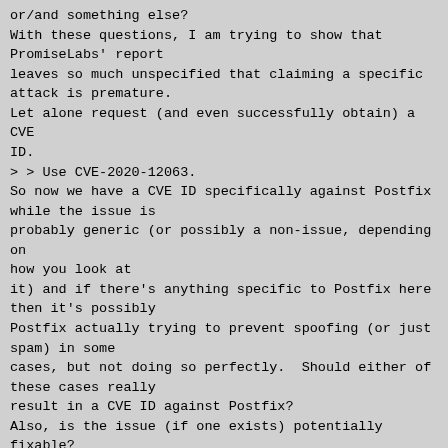or/and something else?
With these questions, I am trying to show that PromiseLabs' report
leaves so much unspecified that claiming a specific attack is premature.
Let alone request (and even successfully obtain) a CVE ID.
> > Use CVE-2020-12063.
So now we have a CVE ID specifically against Postfix while the issue is
probably generic (or possibly a non-issue, depending on how you look at
it) and if there's anything specific to Postfix here then it's possibly
Postfix actually trying to prevent spoofing (or just spam) in some
cases, but not doing so perfectly.  Should either of these cases really
result in a CVE ID against Postfix?
Also, is the issue (if one exists) potentially fixable? Probably not
directly - that is, there's probably no reliable way to prevent just the
homoglyph attacks.  Instead, either whatever check possibly exists can
be removed or relaxed (also accept messages appearing